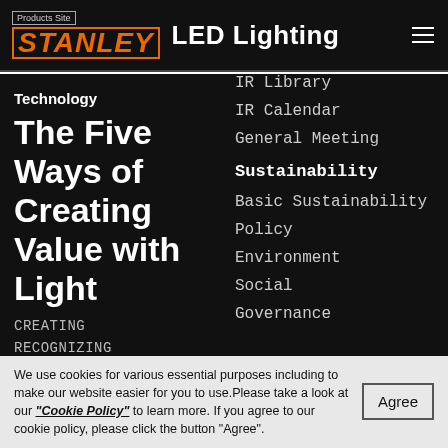Products Site  STANLEY  LED Lighting
Technology
The Five Ways of Creating Value with Light
CREATING
RECOGNIZING
IR Library
IR Calendar
General Meeting
Sustainability
Basic Sustainability
Policy
Environment
Social
Governance
We use cookies for various essential purposes including to make our website easier for you to use.Please take a look at our "Cookie Policy" to learn more. If you agree to our cookie policy, please click the button "Agree".